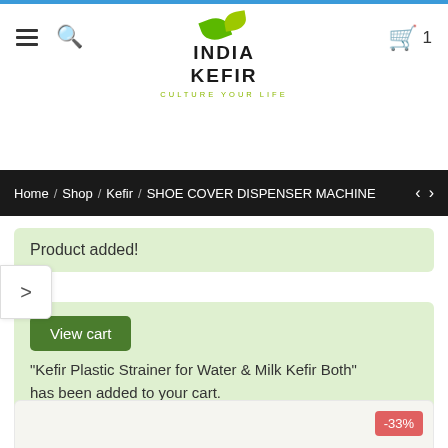[Figure (screenshot): India Kefir website header with logo, hamburger menu, search icon, and cart icon showing count of 1]
Home / Shop / Kefir / SHOE COVER DISPENSER MACHINE
Product added!
"Kefir Plastic Strainer for Water & Milk Kefir Both" has been added to your cart.
[Figure (photo): Product image with -33% discount badge, golden/brass colored product]